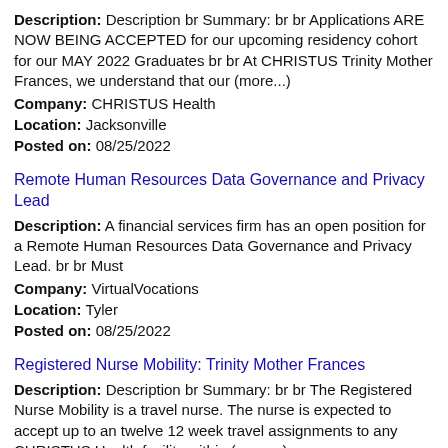Description: Description br Summary: br br Applications ARE NOW BEING ACCEPTED for our upcoming residency cohort for our MAY 2022 Graduates br br At CHRISTUS Trinity Mother Frances, we understand that our (more...)
Company: CHRISTUS Health
Location: Jacksonville
Posted on: 08/25/2022
Remote Human Resources Data Governance and Privacy Lead
Description: A financial services firm has an open position for a Remote Human Resources Data Governance and Privacy Lead. br br Must
Company: VirtualVocations
Location: Tyler
Posted on: 08/25/2022
Registered Nurse Mobility: Trinity Mother Frances
Description: Description br Summary: br br The Registered Nurse Mobility is a travel nurse. The nurse is expected to accept up to an twelve 12 week travel assignments to any CHRISTUS Health facility within (more...)
Company: CHRISTUS Health
Location: Jacksonville